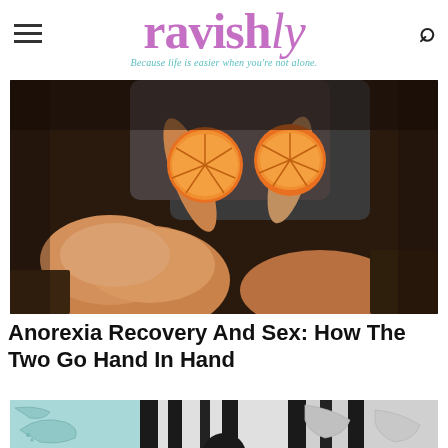ravishly — Because life is easier when you're not alone.
[Figure (photo): A person sitting outdoors holding two halves of a sliced orange/grapefruit, with bare legs visible in warm sunlight against a dark background]
Anorexia Recovery And Sex: How The Two Go Hand In Hand
[Figure (illustration): Partial view of an illustration with black vertical bars and teal/grey shapes, appears to be a map or abstract graphic]